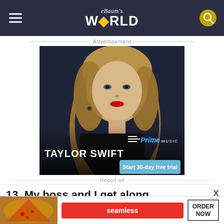eBaum's WORLD
Advertisement
[Figure (photo): Amazon Prime Music advertisement featuring Taylor Swift with a 'Start 30-day free trial' button]
Report ad
13. My boss and I get along
[Figure (photo): Seamless food delivery advertisement with pizza image, Seamless logo, and 'ORDER NOW' button]